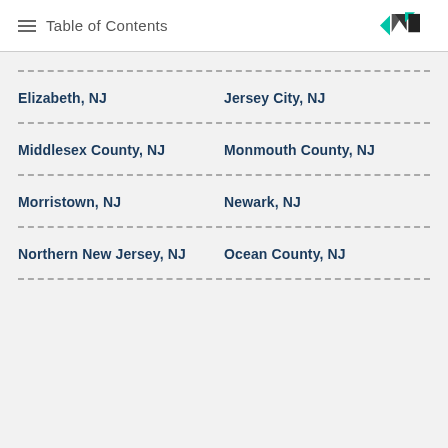Table of Contents
Elizabeth, NJ | Jersey City, NJ
Middlesex County, NJ | Monmouth County, NJ
Morristown, NJ | Newark, NJ
Northern New Jersey, NJ | Ocean County, NJ